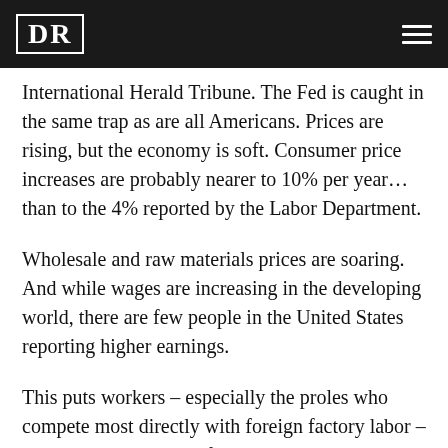DR
International Herald Tribune. The Fed is caught in the same trap as are all Americans. Prices are rising, but the economy is soft. Consumer price increases are probably nearer to 10% per year…than to the 4% reported by the Labor Department.
Wholesale and raw materials prices are soaring. And while wages are increasing in the developing world, there are few people in the United States reporting higher earnings.
This puts workers – especially the proles who compete most directly with foreign factory labor – in a tough spot. They often drive big, gas gourmand pick-up trucks. They typically live far from their jobs (they